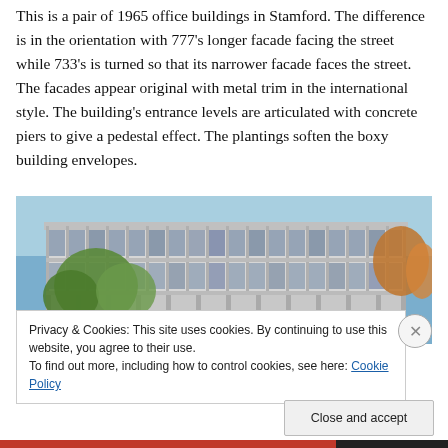This is a pair of 1965 office buildings in Stamford. The difference is in the orientation with 777's longer facade facing the street while 733's is turned so that its narrower facade faces the street. The facades appear original with metal trim in the international style. The building's entrance levels are articulated with concrete piers to give a pedestal effect. The plantings soften the boxy building envelopes.
[Figure (photo): Photograph of a mid-century modern office building with a glass curtain wall facade, concrete structure, and autumn trees in the foreground against a blue sky.]
Privacy & Cookies: This site uses cookies. By continuing to use this website, you agree to their use.
To find out more, including how to control cookies, see here: Cookie Policy
Close and accept